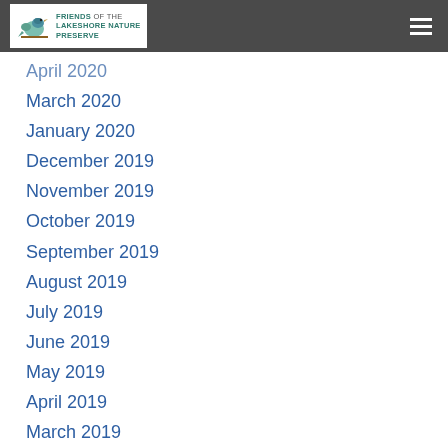Friends of the Lakeshore Nature Preserve
April 2020
March 2020
January 2020
December 2019
November 2019
October 2019
September 2019
August 2019
July 2019
June 2019
May 2019
April 2019
March 2019
February 2019
January 2019
November 2018
October 2018